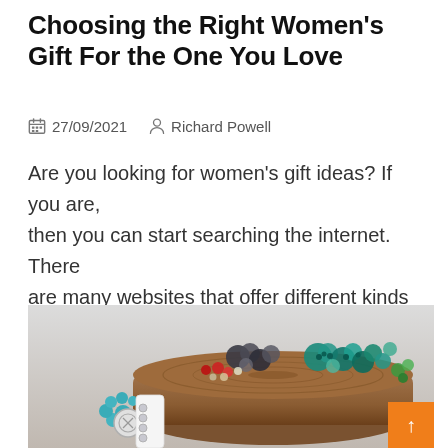Choosing the Right Women’s Gift For the One You Love
27/09/2021   Richard Powell
Are you looking for women's gift ideas? If you are, then you can start searching the internet. There are many websites that offer different kinds
[Figure (photo): Photo of colorful beaded bracelets and jewelry displayed on a wooden log/stump surface, with a turquoise beaded bracelet with charm in the foreground on a white display stand]